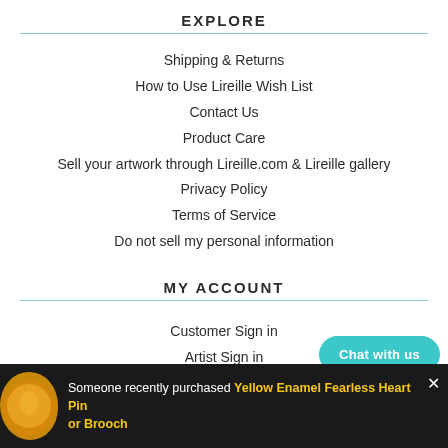EXPLORE
Shipping & Returns
How to Use Lireille Wish List
Contact Us
Product Care
Sell your artwork through Lireille.com & Lireille gallery
Privacy Policy
Terms of Service
Do not sell my personal information
MY ACCOUNT
Customer Sign in
Artist Sign in
CUSTOMER SERVICE
Someone recently purchased Yellow Enamel Fearless Heart Pin or Brooch